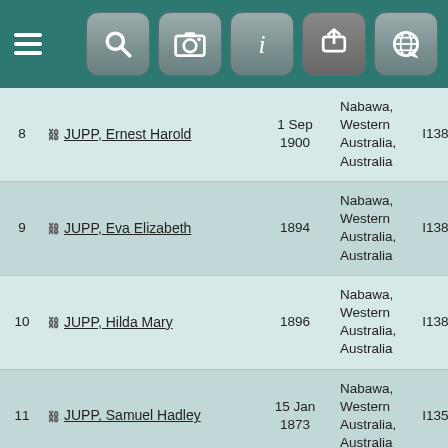[Figure (screenshot): Navigation bar with hamburger menu and icon buttons (search, camera, info, grey button, globe/network)]
| # | Name | Date | Location | ID |
| --- | --- | --- | --- | --- |
| 8 | JUPP, Ernest Harold | 1 Sep 1900 | Nabawa, Western Australia, Australia | I13883 |
| 9 | JUPP, Eva Elizabeth | 1894 | Nabawa, Western Australia, Australia | I13881 |
| 10 | JUPP, Hilda Mary | 1896 | Nabawa, Western Australia, Australia | I13882 |
| 11 | JUPP, Samuel Hadley | 15 Jan 1873 | Nabawa, Western Australia, Australia | I13525 |
| 12 | JUPP, Sarah Alice | 1892 | Nabawa, Western Australia, Australia | I13880 |
| 13 | JUPP, Vernon Albert | 1901 | Nabawa, Western Australia, Australia | I13884 |
| 14 | (partial) | 4 Dec | Nabawa, Western ... |  |